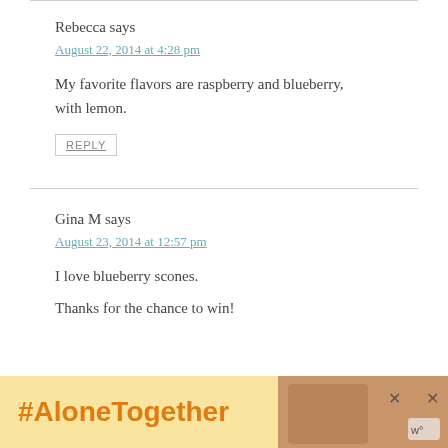Rebecca says
August 22, 2014 at 4:28 pm
My favorite flavors are raspberry and blueberry, with lemon.
REPLY
Gina M says
August 23, 2014 at 12:57 pm
I love blueberry scones.
Thanks for the chance to win!
[Figure (infographic): Advertisement banner with orange text '#AloneTogether' on yellow background, with a photo of a woman and close buttons]